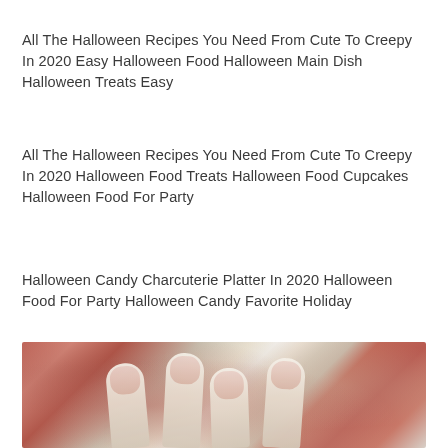All The Halloween Recipes You Need From Cute To Creepy In 2020 Easy Halloween Food Halloween Main Dish Halloween Treats Easy
All The Halloween Recipes You Need From Cute To Creepy In 2020 Halloween Food Treats Halloween Food Cupcakes Halloween Food For Party
Halloween Candy Charcuterie Platter In 2020 Halloween Food For Party Halloween Candy Favorite Holiday
[Figure (photo): Close-up photo of Halloween-themed candy or food items resembling fingers/witch fingers, with blurred background of red/orange candy pieces. Warm orange and cream tones with blurred depth of field.]